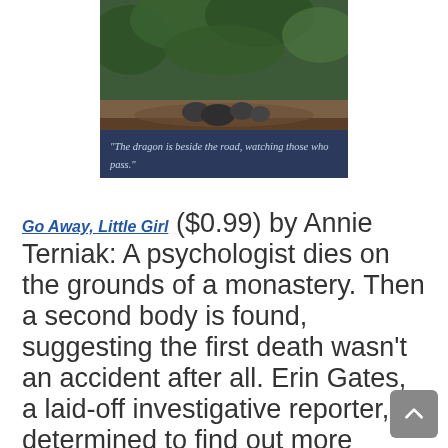[Figure (photo): Book cover photo showing rocks and foliage with caption bar: "The dragon is beside the road, watching those who pass."]
"The dragon is beside the road, watching those who pass."
Go Away, Little Girl ($0.99) by Annie Terniak: A psychologist dies on the grounds of a monastery. Then a second body is found, suggesting the first death wasn't an accident after all. Erin Gates, a laid-off investigative reporter, is determined to find out more because the psychologist was her adoptive mother. But when she begins receiving anonymous threats, it's clear she's on a dangerous quest.